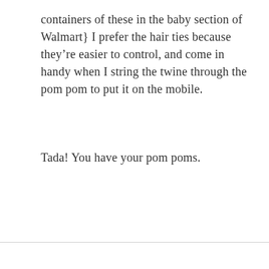containers of these in the baby section of Walmart} I prefer the hair ties because they're easier to control, and come in handy when I string the twine through the pom pom to put it on the mobile.
Tada! You have your pom poms.